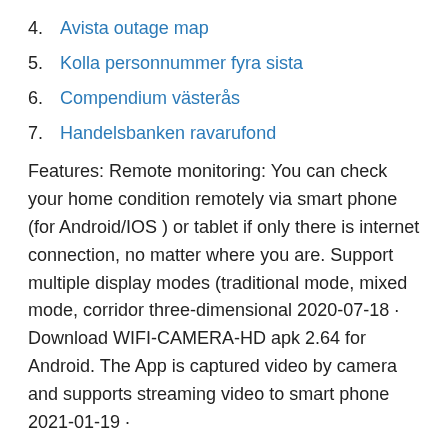4. Avista outage map
5. Kolla personnummer fyra sista
6. Compendium västerås
7. Handelsbanken ravarufond
Features: Remote monitoring: You can check your home condition remotely via smart phone (for Android/IOS ) or tablet if only there is internet connection, no matter where you are. Support multiple display modes (traditional mode, mixed mode, corridor three-dimensional 2020-07-18 · Download WIFI-CAMERA-HD apk 2.64 for Android. The App is captured video by camera and supports streaming video to smart phone 2021-01-19 ·